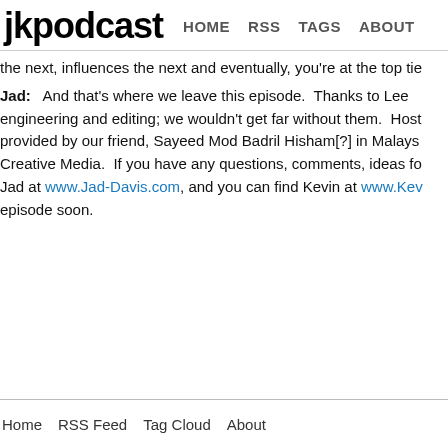jkpodcast  HOME  RSS  TAGS  ABOUT
the next, influences the next and eventually, you're at the top tie
Jad:  And that's where we leave this episode.  Thanks to Lee engineering and editing; we wouldn't get far without them.  Host provided by our friend, Sayeed Mod Badril Hisham[?] in Malays Creative Media.  If you have any questions, comments, ideas fo Jad at www.Jad-Davis.com, and you can find Kevin at www.Kev episode soon.
Home  RSS Feed  Tag Cloud  About